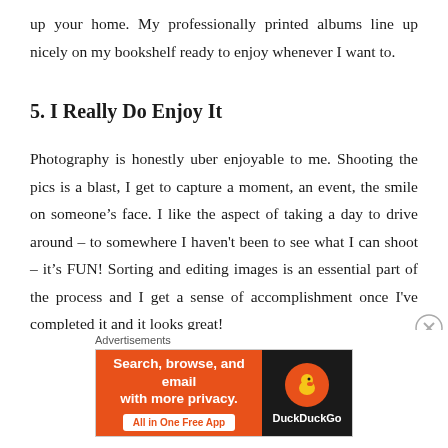up your home. My professionally printed albums line up nicely on my bookshelf ready to enjoy whenever I want to.
5. I Really Do Enjoy It
Photography is honestly uber enjoyable to me. Shooting the pics is a blast, I get to capture a moment, an event, the smile on someone’s face. I like the aspect of taking a day to drive around – to somewhere I haven't been to see what I can shoot – it’s FUN! Sorting and editing images is an essential part of the process and I get a sense of accomplishment once I've completed it and it looks great!
[Figure (other): DuckDuckGo advertisement banner with orange background. Text: 'Search, browse, and email with more privacy. All in One Free App' with DuckDuckGo logo on dark right panel.]